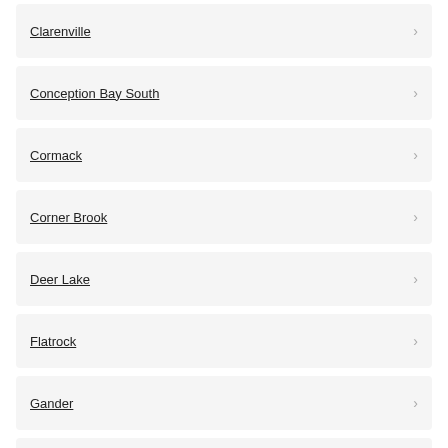Clarenville
Conception Bay South
Cormack
Corner Brook
Deer Lake
Flatrock
Gander
Goulds
Grand Falls-Windsor